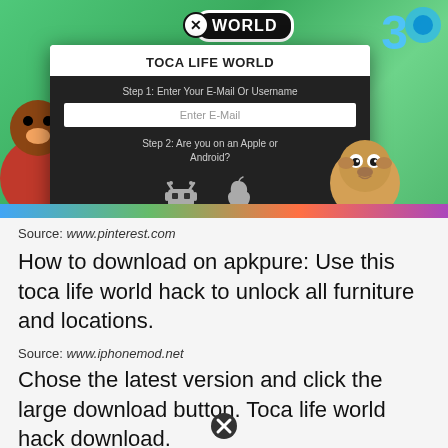[Figure (screenshot): Screenshot of Toca Life World game with a dialog/modal overlay showing 'TOCA LIFE WORLD' title, Step 1 Enter E-Mail field, Step 2 Apple/Android selection icons, and CONTINUE button. Colorful game background with cartoon characters including a sloth.]
Source: www.pinterest.com
How to download on apkpure: Use this toca life world hack to unlock all furniture and locations.
Source: www.iphonemod.net
Chose the latest version and click the large download button. Toca life world hack download.